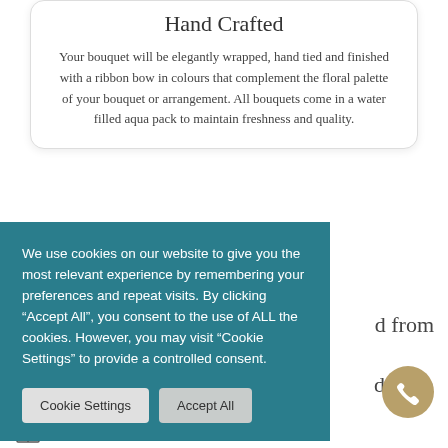Hand Crafted
Your bouquet will be elegantly wrapped, hand tied and finished with a ribbon bow in colours that complement the floral palette of your bouquet or arrangement. All bouquets come in a water filled aqua pack to maintain freshness and quality.
We use cookies on our website to give you the most relevant experience by remembering your preferences and repeat visits. By clicking “Accept All”, you consent to the use of ALL the cookies. However, you may visit "Cookie Settings" to provide a controlled consent.
Cookie Settings   Accept All
d from
d in an
Add a free gift message to your order